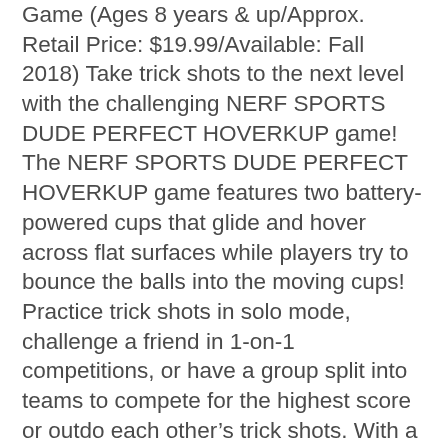Game (Ages 8 years & up/Approx. Retail Price: $19.99/Available: Fall 2018) Take trick shots to the next level with the challenging NERF SPORTS DUDE PERFECT HOVERKUP game! The NERF SPORTS DUDE PERFECT HOVERKUP game features two battery-powered cups that glide and hover across flat surfaces while players try to bounce the balls into the moving cups! Practice trick shots in solo mode, challenge a friend in 1-on-1 competitions, or have a group split into teams to compete for the highest score or outdo each other's trick shots. With a customizable play arena, players can adjust the size and shape of the arena to fit any space! Package includes arena, two cups, six balls, four suction cups, cord, and a cord tensioner. Available at most major toy retailers nationwide and on HasbroToyShop.com.